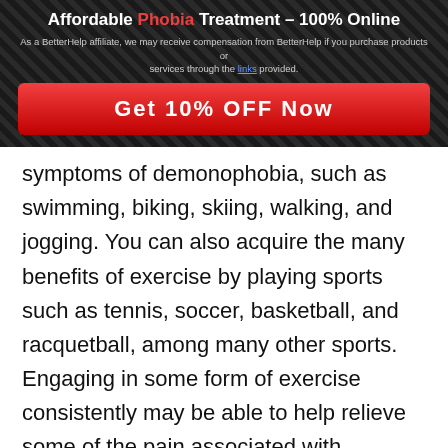[Figure (infographic): Ad banner with dark diagonal stripe background, title 'Affordable Phobia Treatment – 100% Online', affiliate disclaimer, and a red 'Get 10% OFF Now' button]
symptoms of demonophobia, such as swimming, biking, skiing, walking, and jogging. You can also acquire the many benefits of exercise by playing sports such as tennis, soccer, basketball, and racquetball, among many other sports. Engaging in some form of exercise consistently may be able to help relieve some of the pain associated with demonophobia over time.
[Figure (infographic): Search ad widget with 'Search for' label and eye icon, two results: 1. ANTI ANXIETY MEDICATION with arrow, 2. FOODS THAT CONTROL BLOOD SUGAR with arrow, footer with Ad badge and Business Focus label]